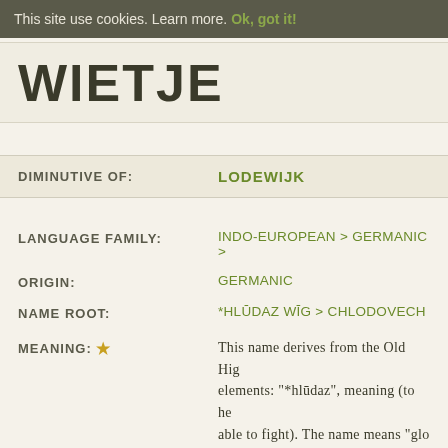This site use cookies. Learn more. Ok, got it!
WIETJE
DIMINUTIVE OF: LODEWIJK
LANGUAGE FAMILY: INDO-EUROPEAN > GERMANIC >
ORIGIN: GERMANIC
NAME ROOT: *HLŪDAZ WĪG > CHLODOVECH
MEANING: ★ This name derives from the Old Hig elements: "*hlūdaz", meaning (to he able to fight). The name means "glo derives, for example, "Ludwig" and  Clodoveo". Clovis I, "Latinized form C a key period during the transformat survived more than 200 years, until